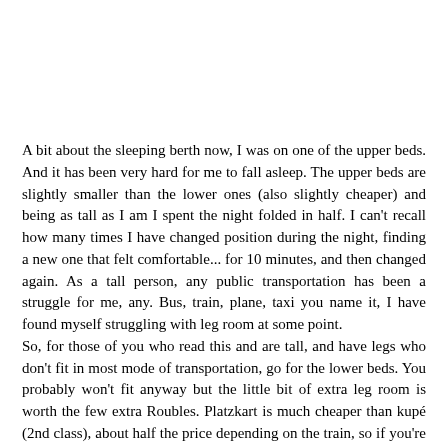A bit about the sleeping berth now, I was on one of the upper beds. And it has been very hard for me to fall asleep. The upper beds are slightly smaller than the lower ones (also slightly cheaper) and being as tall as I am I spent the night folded in half. I can't recall how many times I have changed position during the night, finding a new one that felt comfortable... for 10 minutes, and then changed again. As a tall person, any public transportation has been a struggle for me, any. Bus, train, plane, taxi you name it, I have found myself struggling with leg room at some point.
So, for those of you who read this and are tall, and have legs who don't fit in most mode of transportation, go for the lower beds. You probably won't fit anyway but the little bit of extra leg room is worth the few extra Roubles. Platzkart is much cheaper than kupé (2nd class), about half the price depending on the train, so if you're on a budget it's the way to go, but be prepared for some hard sleeping nights.
"You could have let your feet go out of the bed" you would be tempted to say, and that's what I usually do, but it was just impossible otherwise they would reach the middle of the corridor where people pass. I've tried and a few people bumped into my foot, so I decided to fold and try to get some